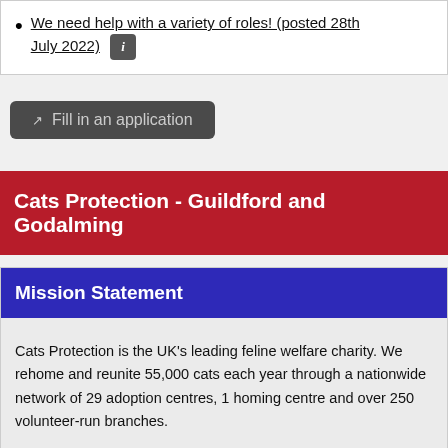We need help with a variety of roles! (posted 28th July 2022)
Fill in an application
Cats Protection - Guildford and Godalming
Mission Statement
Cats Protection is the UK's leading feline welfare charity. We rehome and reunite 55,000 cats each year through a nationwide network of 29 adoption centres, 1 homing centre and over 250 volunteer-run branches.

Our vision is: "A world where every cat is treated with kindness and an understanding of it's needs."